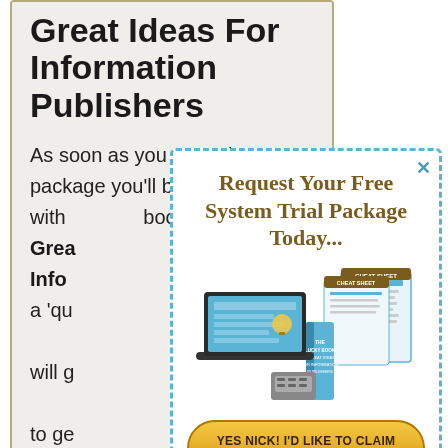Great Ideas For Information Publishers
As soon as you open the package you'll be presented with a book Great Ideas For Information Publishers, a 'quick start' guide that will give you everything to get your ideas flowing and your business training...
[Figure (infographic): Popup overlay with dashed blue border containing 'Request Your Free System Trial Package Today...' heading, product images (laptop, book, cheat sheets), and a CTA button 'YES NICK! I'D LIKE TO CLAIM MY FREE SYSTEM TRIAL PACKAGE']